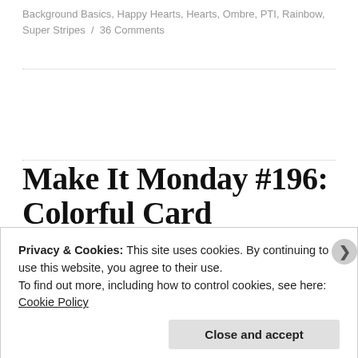Background Basics, Happy Hearts, Hearts, Ombre, PTI, Rainbow, Super Stripes / 36 Comments
Make It Monday #196: Colorful Card Corners, Delftware
Posted on January 12, 2015
Privacy & Cookies: This site uses cookies. By continuing to use this website, you agree to their use. To find out more, including how to control cookies, see here: Cookie Policy